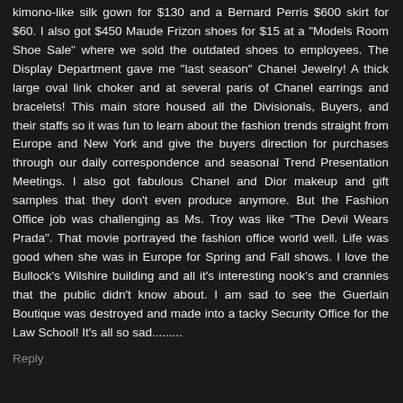kimono-like silk gown for $130 and a Bernard Perris $600 skirt for $60. I also got $450 Maude Frizon shoes for $15 at a "Models Room Shoe Sale" where we sold the outdated shoes to employees. The Display Department gave me "last season" Chanel Jewelry! A thick large oval link choker and at several paris of Chanel earrings and bracelets! This main store housed all the Divisionals, Buyers, and their staffs so it was fun to learn about the fashion trends straight from Europe and New York and give the buyers direction for purchases through our daily correspondence and seasonal Trend Presentation Meetings. I also got fabulous Chanel and Dior makeup and gift samples that they don't even produce anymore. But the Fashion Office job was challenging as Ms. Troy was like "The Devil Wears Prada". That movie portrayed the fashion office world well. Life was good when she was in Europe for Spring and Fall shows. I love the Bullock's Wilshire building and all it's interesting nook's and crannies that the public didn't know about. I am sad to see the Guerlain Boutique was destroyed and made into a tacky Security Office for the Law School! It's all so sad.........
Reply